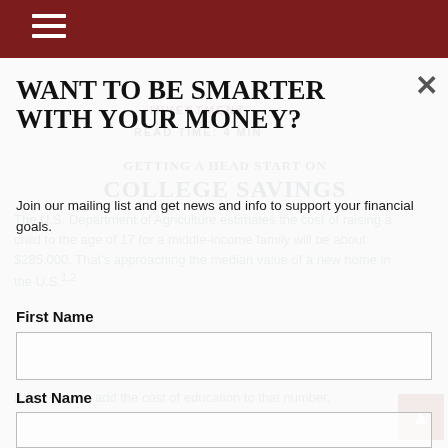[Figure (screenshot): Background article page showing investment article about getting a head start on college savings, with text from U.S. Department of Agriculture about raising a child costing $285,000]
WANT TO BE SMARTER WITH YOUR MONEY?
Join our mailing list and get news and info to support your financial goals.
First Name
Last Name